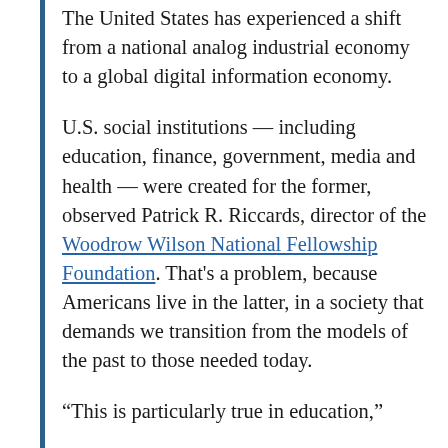The United States has experienced a shift from a national analog industrial economy to a global digital information economy.
U.S. social institutions — including education, finance, government, media and health — were created for the former, observed Patrick R. Riccards, director of the Woodrow Wilson National Fellowship Foundation. That's a problem, because Americans live in the latter, in a society that demands we transition from the models of the past to those needed today.
“This is particularly true in education,”